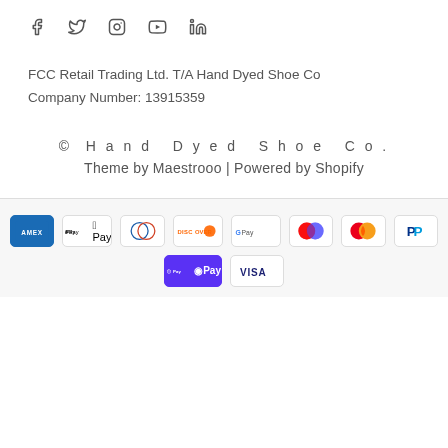[Figure (illustration): Social media icons: Facebook, Twitter, Instagram, YouTube, LinkedIn]
FCC Retail Trading Ltd. T/A Hand Dyed Shoe Co
Company Number: 13915359
© Hand Dyed Shoe Co.
Theme by Maestrooo | Powered by Shopify
[Figure (illustration): Payment method icons: American Express, Apple Pay, Diners Club, Discover, Google Pay, Maestro, Mastercard, PayPal, Shop Pay, Visa]